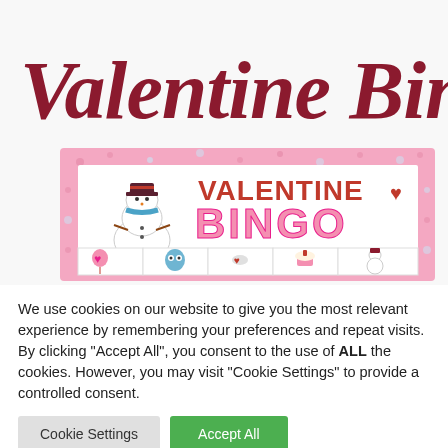[Figure (illustration): Valentine Bingo promotional image showing a cursive 'Valentine Bingo' title in dark red over a pink-bordered bingo card featuring a snowman character and Valentine-themed icons (balloons, owl, dove, cupcake, snowgirl)]
We use cookies on our website to give you the most relevant experience by remembering your preferences and repeat visits. By clicking “Accept All”, you consent to the use of ALL the cookies. However, you may visit "Cookie Settings" to provide a controlled consent.
Cookie Settings
Accept All